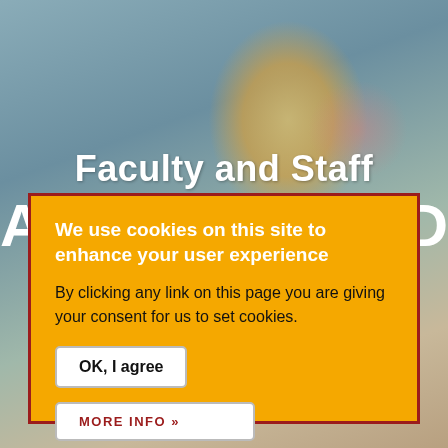[Figure (photo): Blurred background image showing people or objects with warm yellow/orange tones and pinkish hues, partially visible behind a cookie consent overlay]
Faculty and Staff
We use cookies on this site to enhance your user experience
By clicking any link on this page you are giving your consent for us to set cookies.
OK, I agree
MORE INFO »